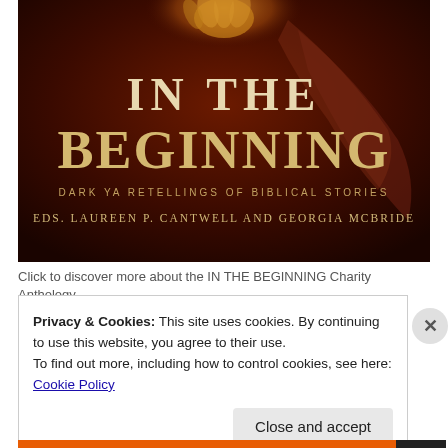[Figure (illustration): Book cover of 'IN THE BEGINNING: Dark YA Retellings of Biblical Stories', edited by Laureen P. Cantwell and Georgia McBride. Dark reddish-brown background with a glowing hand at the top and flowing hair. Large serif title text dominates the center.]
Click to discover more about the IN THE BEGINNING Charity Anthology
Privacy & Cookies: This site uses cookies. By continuing to use this website, you agree to their use.
To find out more, including how to control cookies, see here: Cookie Policy